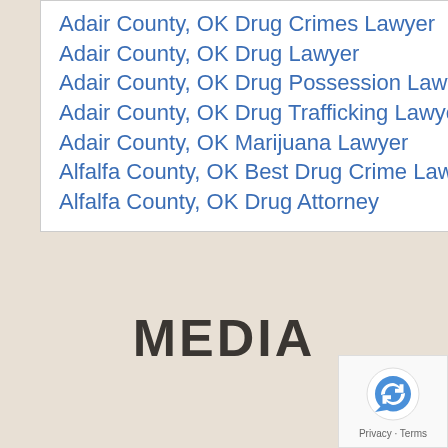Adair County, OK Drug Crimes Lawyer
Adair County, OK Drug Lawyer
Adair County, OK Drug Possession Lawyer
Adair County, OK Drug Trafficking Lawyer
Adair County, OK Marijuana Lawyer
Alfalfa County, OK Best Drug Crime Lawyer
Alfalfa County, OK Drug Attorney
MEDIA